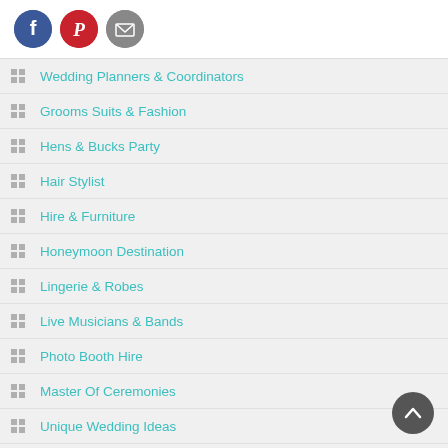[Figure (infographic): Social media sharing icons: Facebook (blue circle with f), Pinterest (red circle with P), Email (grey circle with envelope)]
Wedding Planners & Coordinators
Grooms Suits & Fashion
Hens & Bucks Party
Hair Stylist
Hire & Furniture
Honeymoon Destination
Lingerie & Robes
Live Musicians & Bands
Photo Booth Hire
Master Of Ceremonies
Unique Wedding Ideas
Videographers & Cinematographers
Wedding & Engagement Rings
Wedding Caterers + Mobile Bars